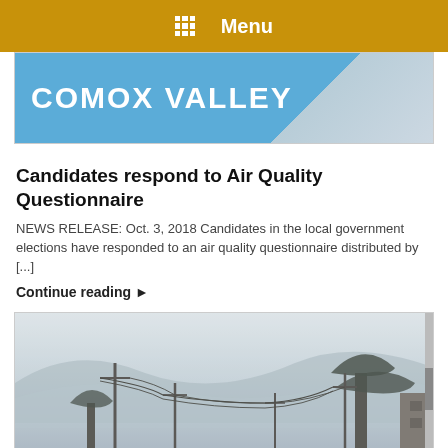Menu
[Figure (photo): Banner image with light blue background showing 'COMOX VALLEY' text in white bold letters]
Candidates respond to Air Quality Questionnaire
NEWS RELEASE: Oct. 3, 2018 Candidates in the local government elections have responded to an air quality questionnaire distributed by [...]
Continue reading ▶
[Figure (photo): Street-level photograph of a foggy/smoky town street with power lines, trees, vehicles, and hazy mountains in the background]